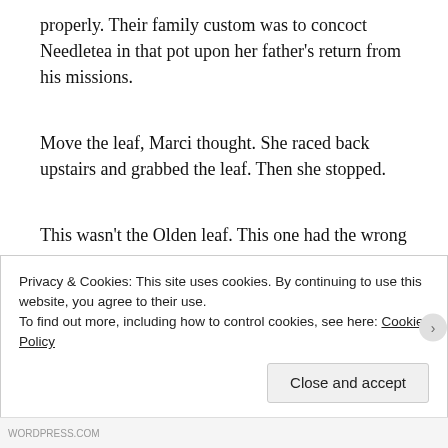properly. Their family custom was to concoct Needletea in that pot upon her father's return from his missions.
Move the leaf, Marci thought. She raced back upstairs and grabbed the leaf. Then she stopped.
This wasn't the Olden leaf. This one had the wrong shape, and it wasn't warm to the touch.
Where was the Olden leaf? Where did this
Privacy & Cookies: This site uses cookies. By continuing to use this website, you agree to their use.
To find out more, including how to control cookies, see here: Cookie Policy